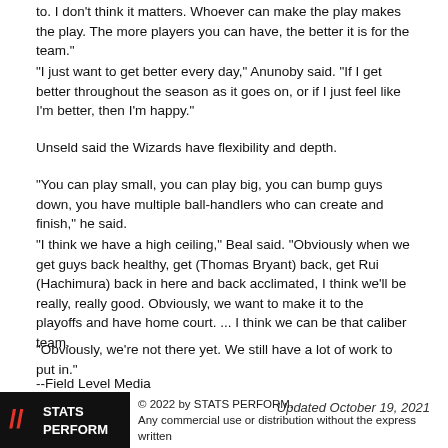to. I don't think it matters. Whoever can make the play makes the play. The more players you can have, the better it is for the team."
"I just want to get better every day," Anunoby said. "If I get better throughout the season as it goes on, or if I just feel like I'm better, then I'm happy."
Unseld said the Wizards have flexibility and depth.
"You can play small, you can play big, you can bump guys down, you have multiple ball-handlers who can create and finish," he said.
"I think we have a high ceiling," Beal said. "Obviously when we get guys back healthy, get (Thomas Bryant) back, get Rui (Hachimura) back in here and back acclimated, I think we'll be really, really good. Obviously, we want to make it to the playoffs and have home court. ... I think we can be that caliber team.
"Obviously, we're not there yet. We still have a lot of work to put in."
--Field Level Media
Updated October 19, 2021
© 2022 by STATS PERFORM. Any commercial use or distribution without the express written